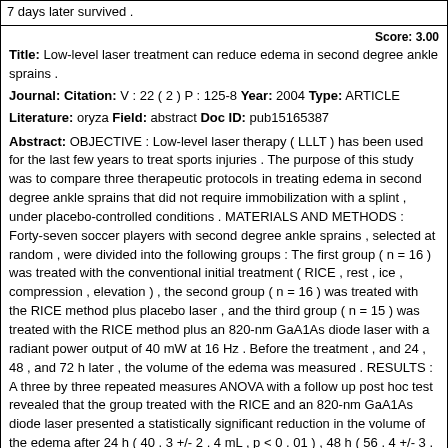7 days later survived .
Score: 3.00
Title: Low-level laser treatment can reduce edema in second degree ankle sprains .
Journal: Citation: V : 22 ( 2 ) P : 125-8 Year: 2004 Type: ARTICLE
Literature: oryza Field: abstract Doc ID: pub15165387
Abstract: OBJECTIVE : Low-level laser therapy ( LLLT ) has been used for the last few years to treat sports injuries . The purpose of this study was to compare three therapeutic protocols in treating edema in second degree ankle sprains that did not require immobilization with a splint , under placebo-controlled conditions . MATERIALS AND METHODS : Forty-seven soccer players with second degree ankle sprains , selected at random , were divided into the following groups : The first group ( n = 16 ) was treated with the conventional initial treatment ( RICE , rest , ice , compression , elevation ) , the second group ( n = 16 ) was treated with the RICE method plus placebo laser , and the third group ( n = 15 ) was treated with the RICE method plus an 820-nm GaA1As diode laser with a radiant power output of 40 mW at 16 Hz . Before the treatment , and 24 , 48 , and 72 h later , the volume of the edema was measured . RESULTS : A three by three repeated measures ANOVA with a follow up post hoc test revealed that the group treated with the RICE and an 820-nm GaA1As diode laser presented a statistically significant reduction in the volume of the edema after 24 h ( 40 . 3 +/- 2 . 4 mL , p < 0 . 01 ) , 48 h ( 56 . 4 +/- 3 . 1 mL , p < 0 . 002 ) , and 72 h ( 65 . 1 +/- 4 . 4 mL , p < 0 . 001 ) . CONCLUSIONS : LLLT combined with RICE can reduce edema in second-degree ankle sprains .
Score: 3.00